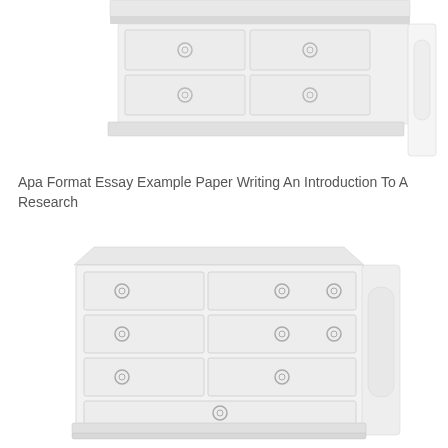[Figure (illustration): Partial view of a white/light grey dresser or chest of drawers from above, showing top drawers with circular ring handles, cropped at top of page]
Apa Format Essay Example Paper Writing An Introduction To A Research
[Figure (illustration): Full view of a white/light grey chest of drawers with multiple rows of drawers, each with circular ring pull handles, on a white background]